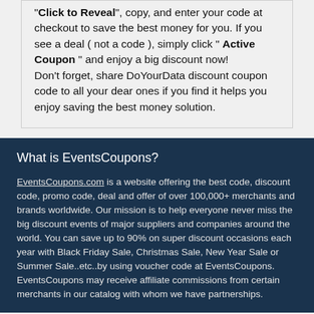"Click to Reveal", copy, and enter your code at checkout to save the best money for you. If you see a deal ( not a code ), simply click " Active Coupon " and enjoy a big discount now!
Don't forget, share DoYourData discount coupon code to all your dear ones if you find it helps you enjoy saving the best money solution.
What is EventsCoupons?
EventsCoupons.com is a website offering the best code, discount code, promo code, deal and offer of over 100,000+ merchants and brands worldwide. Our mission is to help everyone never miss the big discount events of major suppliers and companies around the world. You can save up to 90% on super discount occasions each year with Black Friday Sale, Christmas Sale, New Year Sale or Summer Sale..etc..by using voucher code at EventsCoupons.
EventsCoupons may receive affiliate commissions from certain merchants in our catalog with whom we have partnerships.